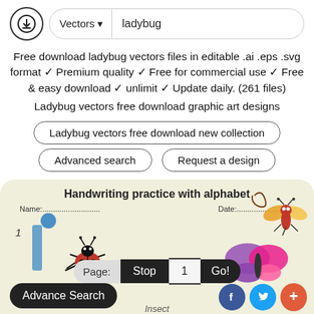Vectors ▾  ladybug
Free download ladybug vectors files in editable .ai .eps .svg format ✓ Premium quality ✓ Free for commercial use ✓ Free & easy download ✓ unlimit ✓ Update daily. (261 files)
Ladybug vectors free download graphic art designs
Ladybug vectors free download new collection
Advanced search
Request a design
[Figure (illustration): Preview card showing 'Handwriting practice with alphabet' worksheet with Name and Date fields, blue bar graphic, ladybug and insect illustrations, pagination bar (Page: Stop 1 Go!), Advance Search button, and social sharing icons (Facebook, Twitter, plus).]